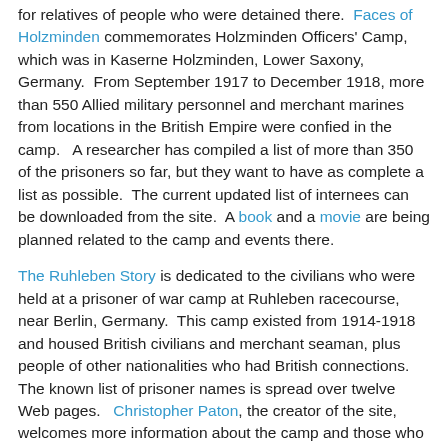for relatives of people who were detained there. Faces of Holzminden commemorates Holzminden Officers' Camp, which was in Kaserne Holzminden, Lower Saxony, Germany. From September 1917 to December 1918, more than 550 Allied military personnel and merchant marines from locations in the British Empire were confied in the camp. A researcher has compiled a list of more than 350 of the prisoners so far, but they want to have as complete a list as possible. The current updated list of internees can be downloaded from the site. A book and a movie are being planned related to the camp and events there.
The Ruhleben Story is dedicated to the civilians who were held at a prisoner of war camp at Ruhleben racecourse, near Berlin, Germany. This camp existed from 1914-1918 and housed British civilians and merchant seaman, plus people of other nationalities who had British connections. The known list of prisoner names is spread over twelve Web pages. Christopher Paton, the creator of the site, welcomes more information about the camp and those who were imprisoned there.